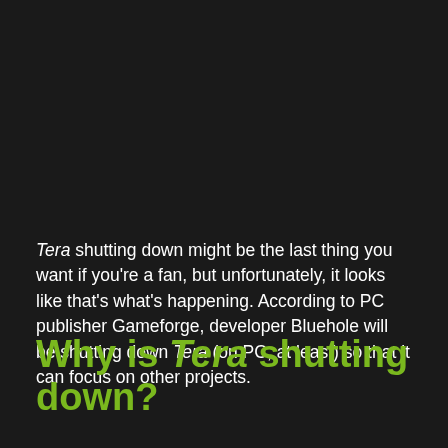Tera shutting down might be the last thing you want if you're a fan, but unfortunately, it looks like that's what's happening. According to PC publisher Gameforge, developer Bluehole will be shutting down Tera (on PC, at least) so that it can focus on other projects.
Why is Tera shutting down?